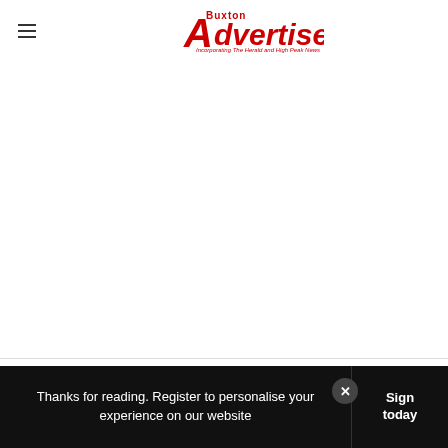Buxton Advertiser — Incorporating The Herald and High Peak News
[Figure (logo): Buxton Advertiser logo in red with tagline 'Incorporating The Herald and High Peak News']
[Figure (other): IPSO Regulated badge]
Thanks for reading. Register to personalise your experience on our website
Sign today